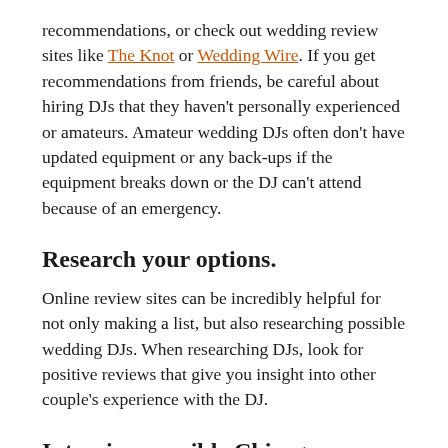recommendations, or check out wedding review sites like The Knot or Wedding Wire. If you get recommendations from friends, be careful about hiring DJs that they haven't personally experienced or amateurs. Amateur wedding DJs often don't have updated equipment or any back-ups if the equipment breaks down or the DJ can't attend because of an emergency.
Research your options.
Online review sites can be incredibly helpful for not only making a list, but also researching possible wedding DJs. When researching DJs, look for positive reviews that give you insight into other couple's experience with the DJ.
Interview possible Chicago wedding DJs.
The next step of hiring a Chicago wedding DJ is to interview